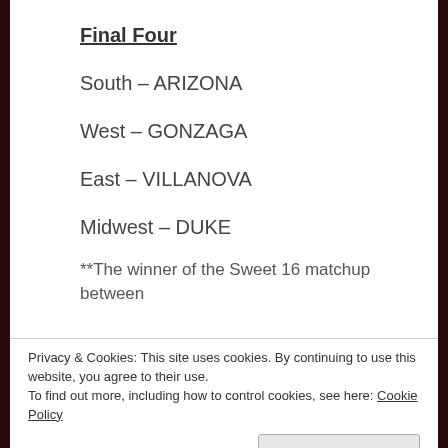Final Four
South – ARIZONA
West – GONZAGA
East – VILLANOVA
Midwest – DUKE
**The winner of the Sweet 16 matchup between
Privacy & Cookies: This site uses cookies. By continuing to use this website, you agree to their use. To find out more, including how to control cookies, see here: Cookie Policy
Villanova. Jay Wright is a phenomenal basketball